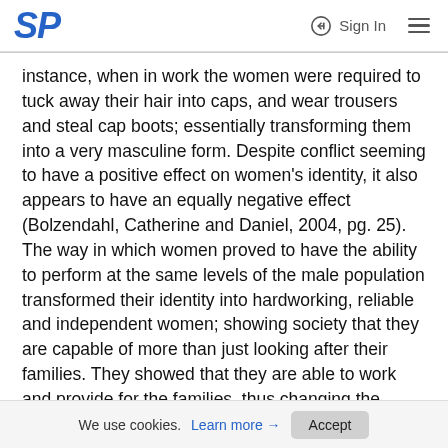SP | Sign In
instance, when in work the women were required to tuck away their hair into caps, and wear trousers and steal cap boots; essentially transforming them into a very masculine form. Despite conflict seeming to have a positive effect on women's identity, it also appears to have an equally negative effect (Bolzendahl, Catherine and Daniel, 2004, pg. 25). The way in which women proved to have the ability to perform at the same levels of the male population transformed their identity into hardworking, reliable and independent women; showing society that they are capable of more than just looking after their families. They showed that they are able to work and provide for the families, thus changing the widespread opinions on society; that women are incapable of such things. In this way, the changes in the identities of women had a truly
We use cookies. Learn more → Accept